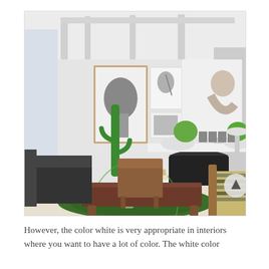[Figure (photo): Interior living room photo showing a white-walled room with exposed beams on the ceiling, multiple framed artworks on the wall, a white fireplace mantel with potted plants and small framed photos, a tall cactus, mid-century wooden furniture including chairs and a large low wooden coffee table, and a green round rug on the floor. A striped armchair is visible in the lower right corner.]
However, the color white is very appropriate in interiors where you want to have a lot of color. The white color